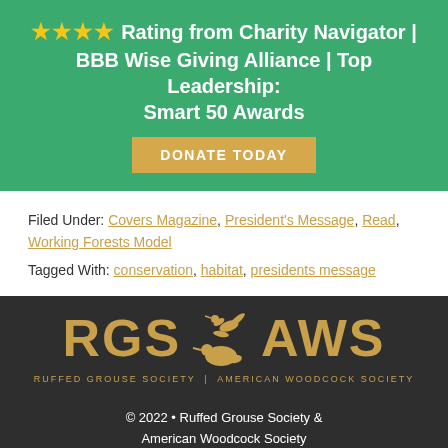★★★★ Rating from Charity Navigator | BBB Wise Giving Alliance | Top Leadership: Smart 50 Awards
DONATE TODAY
Filed Under: Covers Magazine, President's Message, Read, Working Forests Model
Tagged With: conservation, habitat, presidents message
[Figure (logo): RGS & AWS logo — Ruffed Grouse Society | American Woodcock Society, gold text on dark background with bird silhouette]
© 2022 • Ruffed Grouse Society & American Woodcock Society